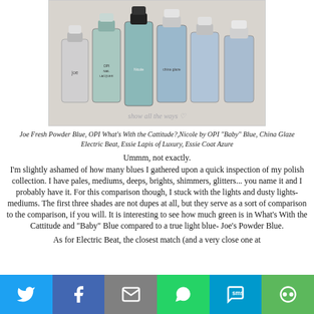[Figure (photo): Six nail polish bottles lined up: Joe Fresh Powder Blue, OPI What's With the Cattitude?, Nicole by OPI Baby Blue, China Glaze Electric Beat, Essie Lapis of Luxury, Essie Coat Azure]
Joe Fresh Powder Blue, OPI What's With the Cattitude?,Nicole by OPI "Baby" Blue, China Glaze Electric Beat, Essie Lapis of Luxury, Essie Coat Azure
Ummm, not exactly.
I'm slightly ashamed of how many blues I gathered upon a quick inspection of my polish collection. I have pales, mediums, deeps, brights, shimmers, glitters... you name it and I probably have it. For this comparison though, I stuck with the lights and dusty lights-mediums. The first three shades are not dupes at all, but they serve as a sort of comparison to the comparison, if you will. It is interesting to see how much green is in What's With the Cattitude and "Baby" Blue compared to a true light blue- Joe's Powder Blue.
As for Electric Beat, the closest match (and a very close one at
[Figure (infographic): Social media share bar with Twitter, Facebook, Email, WhatsApp, SMS, and More buttons]